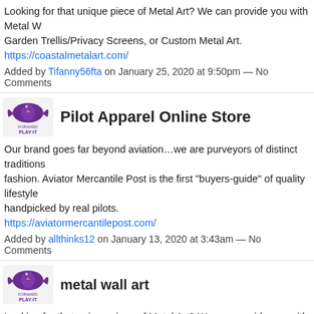Looking for that unique piece of Metal Art? We can provide you with Metal W... Garden Trellis/Privacy Screens, or Custom Metal Art.
https://coastalmetalart.com/
Added by Tifanny56fta on January 25, 2020 at 9:50pm — No Comments
Pilot Apparel Online Store
Our brand goes far beyond aviation…we are purveyors of distinct traditions... fashion. Aviator Mercantile Post is the first "buyers-guide" of quality lifestyle... handpicked by real pilots.
https://aviatormercantilepost.com/
Added by allthinks12 on January 13, 2020 at 3:43am — No Comments
metal wall art
Looking for that unique piece of Metal Art? We can provide you with Metal W... Garden Trellis/Privacy Screens, or Custom Metal Art.
https://coastalmetalart.com/
Added by panama city beach fl dui lawyer on December 27, 2019 at 5:03am — No...
outdoor metal screen